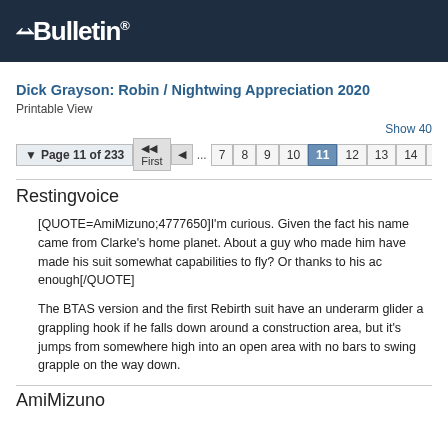vBulletin
Dick Grayson: Robin / Nightwing Appreciation 2020
Printable View
Show 40 | Page 11 of 233 First ... 7 8 9 10 11 12 13 14 15 21
Restingvoice
[QUOTE=AmiMizuno;4777650]I'm curious. Given the fact his name came from Clarke's home planet. About a guy who made him have made his suit somewhat capabilities to fly? Or thanks to his ac enough[/QUOTE]
The BTAS version and the first Rebirth suit have an underarm glider a grappling hook if he falls down around a construction area, but it's jumps from somewhere high into an open area with no bars to swing grapple on the way down.
AmiMizuno